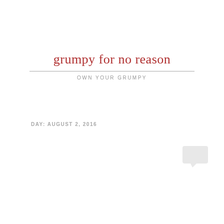grumpy for no reason
OWN YOUR GRUMPY
DAY: AUGUST 2, 2016
Let’s stop talking about Donald Trump’s mental illness (in defense of mental illness)
I’ve seen a lot of “Trump is mentally ill” articles and memes this election cycle. At first I found them entertaining, but then pretty quickly they set me to thinking.